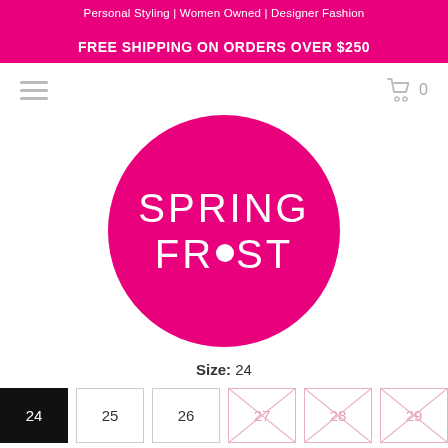Personal Styling | Women Owned | Designer Fashion
FREE SHIPPING ON ORDERS OVER $250
[Figure (logo): Spring Frost logo: large magenta/pink circle with white text SPRING FROST, the O in FROST replaced by a white dot]
Size: 24
Size options: 24 (selected), 25, 26, 27 (unavailable), 28 (unavailable), 29 (unavailable), 30